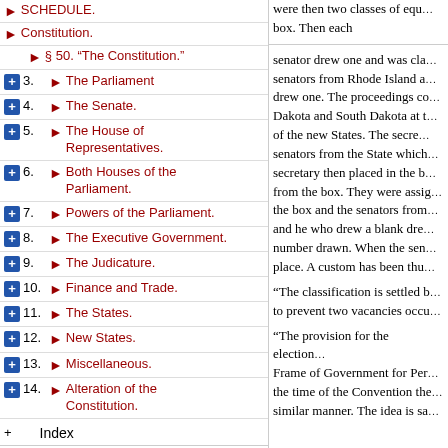SCHEDULE.
Constitution.
§ 50. "The Constitution."
3. The Parliament
4. The Senate.
5. The House of Representatives.
6. Both Houses of the Parliament.
7. Powers of the Parliament.
8. The Executive Government.
9. The Judicature.
10. Finance and Trade.
11. The States.
12. New States.
13. Miscellaneous.
14. Alteration of the Constitution.
Index
Collapse All | Expand All
were then two classes of equ... box. Then each
senator drew one and was cla... senators from Rhode Island a... drew one. The proceedings co... Dakota and South Dakota at t... of the new States. The secre... senators from the State which... secretary then placed in the b... from the box. They were assig... the box and the senators from... and he who drew a blank dre... number drawn. When the sen... place. A custom has been thu...
"The classification is settled b... to prevent two vacancies occu...
"The provision for the election... Frame of Government for Per... the time of the Convention the... similar manner. The idea is sa...